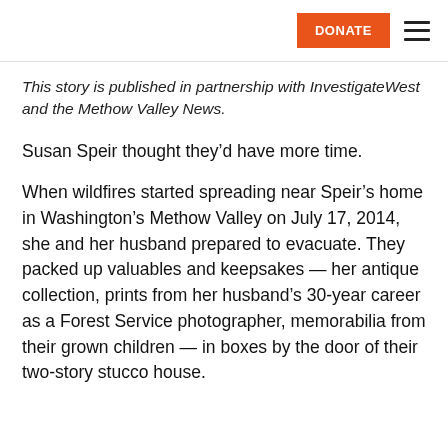DONATE [hamburger menu]
This story is published in partnership with InvestigateWest and the Methow Valley News.
Susan Speir thought they’d have more time.
When wildfires started spreading near Speir’s home in Washington’s Methow Valley on July 17, 2014, she and her husband prepared to evacuate. They packed up valuables and keepsakes — her antique collection, prints from her husband’s 30-year career as a Forest Service photographer, memorabilia from their grown children — in boxes by the door of their two-story stucco house.